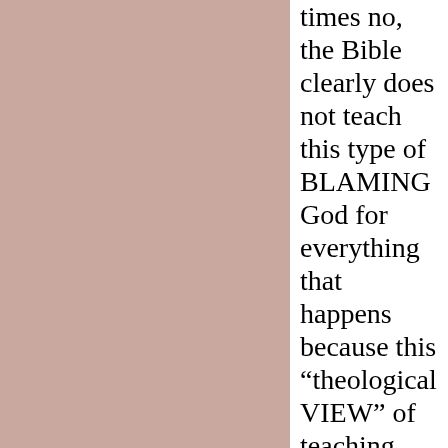[Figure (illustration): Solid pinkish-beige/mauve colored rectangular panel occupying the left portion of the page]
times no, the Bible clearly does not teach this type of BLAMING God for everything that happens because this “theological VIEW” of teaching